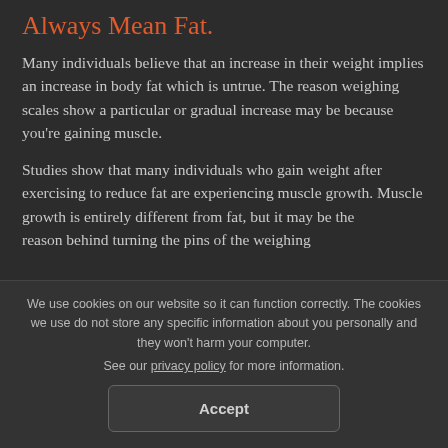Always Mean Fat.
Many individuals believe that an increase in their weight implies an increase in body fat which is untrue. The reason weighing scales show a particular or gradual increase may be because you're gaining muscle.
Studies show that many individuals who gain weight after exercising to reduce fat are experiencing muscle growth. Muscle growth is entirely different from fat, but it may be the reason behind turning the pins of the weighing
We use cookies on our website so it can function correctly. The cookies we use do not store any specific information about you personally and they won't harm your computer.
See our privacy policy for more information.
Accept